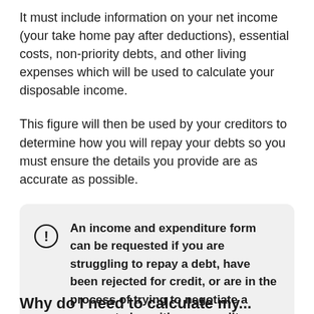It must include information on your net income (your take home pay after deductions), essential costs, non-priority debts, and other living expenses which will be used to calculate your disposable income.
This figure will then be used by your creditors to determine how you will repay your debts so you must ensure the details you provide are as accurate as possible.
An income and expenditure form can be requested if you are struggling to repay a debt, have been rejected for credit, or are in the process of trying to negotiate a payment plan with your creditor.
Why do I need to calculate my...